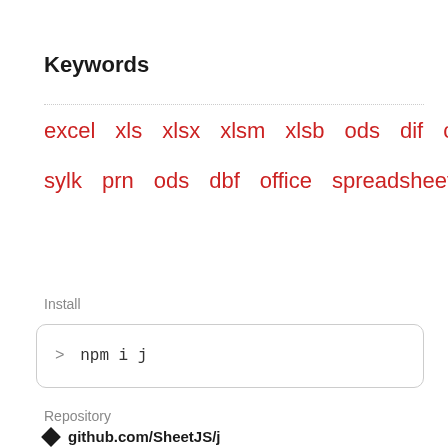Keywords
excel  xls  xlsx  xlsm  xlsb  ods  dif  csv
sylk  prn  ods  dbf  office  spreadsheet
Install
> npm i j
Repository
github.com/SheetJS/j